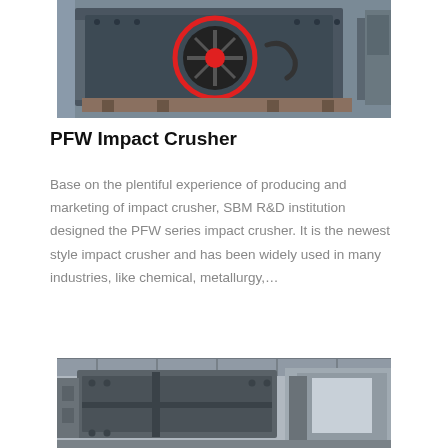[Figure (photo): PFW Impact Crusher machine photo — dark grey industrial crusher with a red-highlighted circular pulley/flywheel visible, photographed from the front in a warehouse/factory setting.]
PFW Impact Crusher
Base on the plentiful experience of producing and marketing of impact crusher, SBM R&D institution designed the PFW series impact crusher. It is the newest style impact crusher and has been widely used in many industries, like chemical, metallurgy,...
[Figure (photo): Second photo of a large industrial impact crusher machine, grey/black metalwork, photographed indoors under roof structure.]